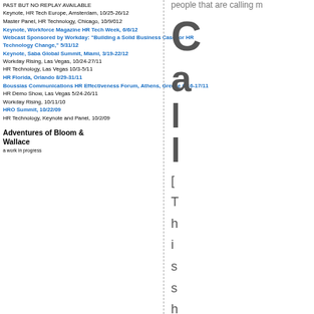PAST BUT NO REPLAY AVAILABLE
Keynote, HR Tech Europe, Amsterdam, 10/25-26/12
Master Panel, HR Technology, Chicago, 10/9/012
Keynote, Workforce Magazine HR Tech Week, 6/6/12
Webcast Sponsored by Workday: "Building a Solid Business Case for HR Technology Change," 5/31/12
Keynote, Saba Global Summit, Miami, 3/19-22/12
Workday Rising, Las Vegas, 10/24-27/11
HR Technology, Las Vegas 10/3-5/11
HR Florida, Orlando 8/29-31/11
Boussias Communications HR Effectiveness Forum, Athens, Greece 6/16-17/11
HR Demo Show, Las Vegas 5/24-26/11
Workday Rising, 10/11/10
HRO Summit, 10/22/09
HR Technology, Keynote and Panel, 10/2/09
Adventures of Bloom & Wallace
a work in progress
C
a
l
l
[
T
h
i
s
s
h
o
u
l
d
h
a
v
e
b
e
e
n